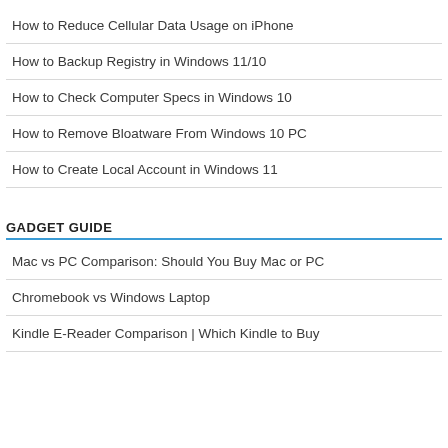How to Reduce Cellular Data Usage on iPhone
How to Backup Registry in Windows 11/10
How to Check Computer Specs in Windows 10
How to Remove Bloatware From Windows 10 PC
How to Create Local Account in Windows 11
GADGET GUIDE
Mac vs PC Comparison: Should You Buy Mac or PC
Chromebook vs Windows Laptop
Kindle E-Reader Comparison | Which Kindle to Buy